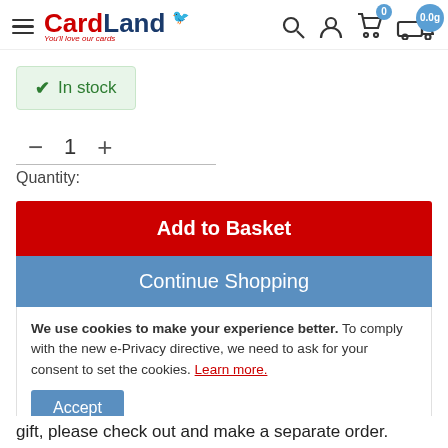CardLand — You'll love our cards | Navigation bar with search, account, cart (0), delivery 0.0g
✓ In stock
— 1 + Quantity:
Add to Basket
Continue Shopping
We use cookies to make your experience better. To comply with the new e-Privacy directive, we need to ask for your consent to set the cookies. Learn more.
Accept
gift, please check out and make a separate order.